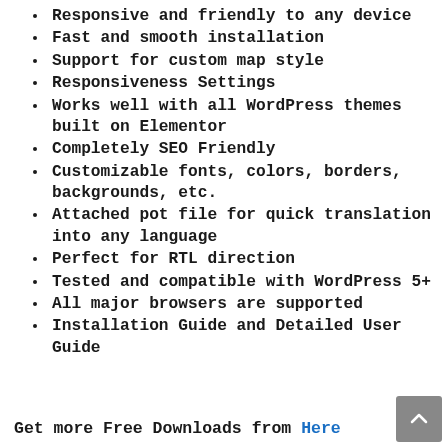Responsive and friendly to any device
Fast and smooth installation
Support for custom map style
Responsiveness Settings
Works well with all WordPress themes built on Elementor
Completely SEO Friendly
Customizable fonts, colors, borders, backgrounds, etc.
Attached pot file for quick translation into any language
Perfect for RTL direction
Tested and compatible with WordPress 5+
All major browsers are supported
Installation Guide and Detailed User Guide
Get more Free Downloads from Here